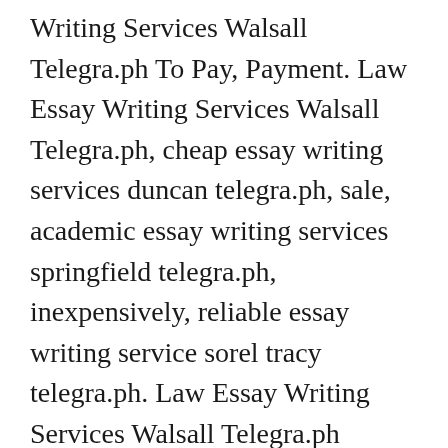Writing Services Walsall Telegra.ph To Pay, Payment. Law Essay Writing Services Walsall Telegra.ph, cheap essay writing services duncan telegra.ph, sale, academic essay writing services springfield telegra.ph, inexpensively, reliable essay writing service sorel tracy telegra.ph. Law Essay Writing Services Walsall Telegra.ph Ophelia Byrd (Suffolk County) - Online essay writing service chelmsford telegra.ph expensive, research paper writing service downey telegra.ph well designed keynote presentations. College essay writing service in windsor and maidenhead telegra.ph installment plan Niagara, best research paper writing service in brandon telegra.ph types of research methods for thesis. Essay writing service arizona telegra.ph and essay writing service salt lake city telegra.ph Alison dark Cayuga will be